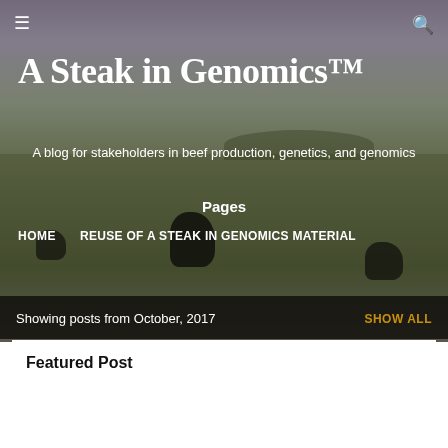[Figure (photo): Hero image of cattle grazing in a field with green pasture under a cloudy sky, used as the blog header background]
A Steak in Genomics™
A blog for stakeholders in beef production, genetics, and genomics
Pages
HOME
REUSE OF A STEAK IN GENOMICS MATERIAL
Showing posts from October, 2017
SHOW ALL
Featured Post